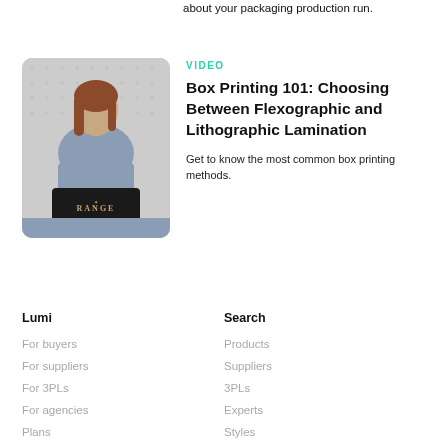about your packaging production run.
VIDEO
Box Printing 101: Choosing Between Flexographic and Lithographic Lamination
Get to know the most common box printing methods.
[Figure (photo): Woman sitting at a table holding a dark box labeled RANGE, with a pegboard background]
Lumi
For buyers
For suppliers
For 3PLs
For agencies
Plans
Search
Products
Suppliers
3PLs
Experts
Styles